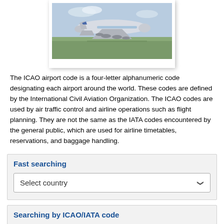[Figure (photo): Photograph of a large commercial airplane (Airbus A380) on a runway, with green grass and sky in the background.]
The ICAO airport code is a four-letter alphanumeric code designating each airport around the world. These codes are defined by the International Civil Aviation Organization. The ICAO codes are used by air traffic control and airline operations such as flight planning. They are not the same as the IATA codes encountered by the general public, which are used for airline timetables, reservations, and baggage handling.
Fast searching
Select country
Searching by ICAO/IATA code